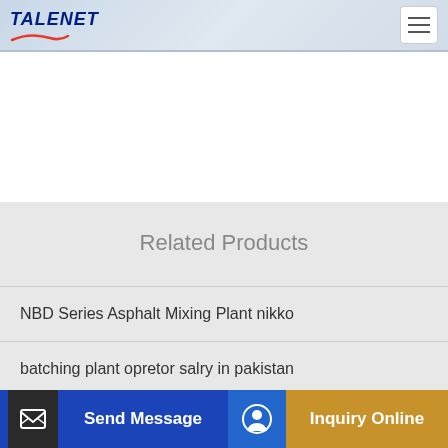TALENET
Related Products
NBD Series Asphalt Mixing Plant nikko
batching plant opretor salry in pakistan
38 meter 5 section boom concrete pumps
Used Concrete Pumps for sale in Poland